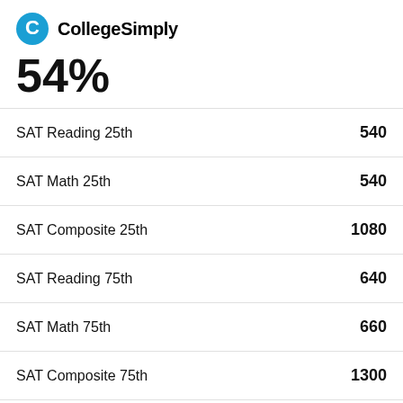CollegeSimply
54%
| Metric | Value |
| --- | --- |
| SAT Reading 25th | 540 |
| SAT Math 25th | 540 |
| SAT Composite 25th | 1080 |
| SAT Reading 75th | 640 |
| SAT Math 75th | 660 |
| SAT Composite 75th | 1300 |
| Average SAT Score | 1190 |